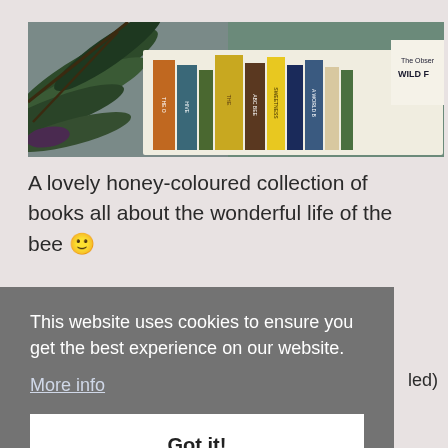[Figure (photo): A collection of honey-coloured books about bees arranged in a row, with large dark green leaves overlapping the corner, set against a grey background. Book spines are visible including titles like 'ABC of BEE', 'SWEETNESS', 'A WORLD B'. Top right shows corner of another book reading 'The Obser WILD F'.]
A lovely honey-coloured collection of books all about the wonderful life of the bee 🙂
This website uses cookies to ensure you get the best experience on our website.
More info
led)
Got it!